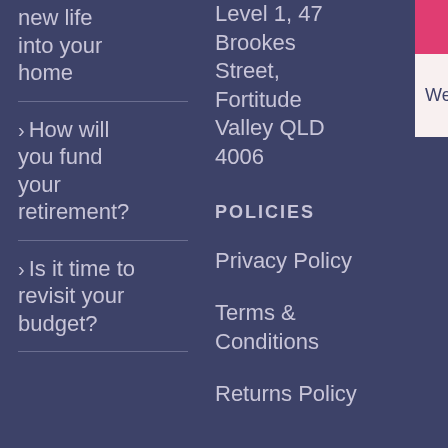new life into your home
> How will you fund your retirement?
> Is it time to revisit your budget?
Level 1, 47 Brookes Street, Fortitude Valley QLD 4006
POLICIES
Privacy Policy
Terms & Conditions
Returns Policy
Subsc
We respec